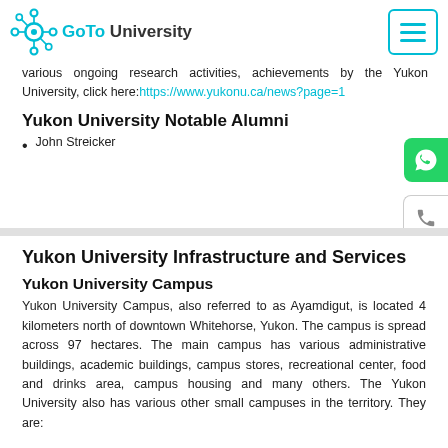[Figure (logo): GoTo University logo with teal gear/network icon and text]
various ongoing research activities, achievements by the Yukon University, click here:https://www.yukonu.ca/news?page=1
Yukon University Notable Alumni
John Streicker
Yukon University Infrastructure and Services
Yukon University Campus
Yukon University Campus, also referred to as Ayamdigut, is located 4 kilometers north of downtown Whitehorse, Yukon. The campus is spread across 97 hectares. The main campus has various administrative buildings, academic buildings, campus stores, recreational center, food and drinks area, campus housing and many others. The Yukon University also has various other small campuses in the territory. They are: